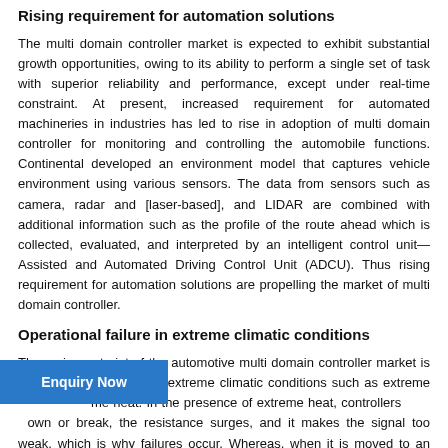Rising requirement for automation solutions
The multi domain controller market is expected to exhibit substantial growth opportunities, owing to its ability to perform a single set of task with superior reliability and performance, except under real-time constraint. At present, increased requirement for automated machineries in industries has led to rise in adoption of multi domain controller for monitoring and controlling the automobile functions. Continental developed an environment model that captures vehicle environment using various sensors. The data from sensors such as camera, radar and [laser-based], and LIDAR are combined with additional information such as the profile of the route ahead which is collected, evaluated, and interpreted by an intelligent control unit—Assisted and Automated Driving Control Unit (ADCU). Thus rising requirement for automation solutions are propelling the market of multi domain controller.
Operational failure in extreme climatic conditions
The major restraint of the automotive multi domain controller market is its operational failures in extreme climatic conditions such as extreme me heat. In the presence of extreme heat, controllers own or break, the resistance surges, and it makes the signal too weak, which is why failures occur. Whereas, when it is moved to an optimal temperature, resistance is reduced, and it gets